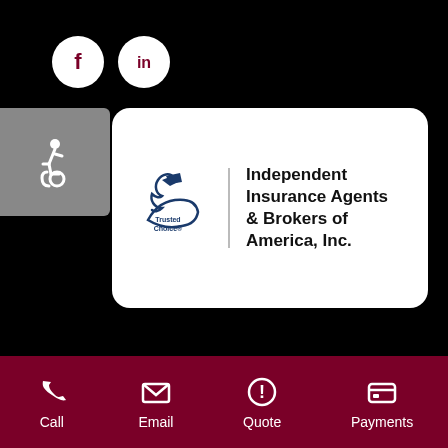[Figure (logo): Facebook and LinkedIn social media icons (white circles with dark letters on black background)]
[Figure (logo): Accessibility icon (wheelchair symbol) on grey square]
[Figure (logo): Trusted Choice logo with bird/swoosh and text 'Independent Insurance Agents & Brokers of America, Inc.' on white rounded card]
Copyright © 2022 Mathenia Insurance Group. Powered by Advisor Evolved.
[Figure (infographic): Dark red bottom navigation bar with Call, Email, Quote, and Payments icons and labels]